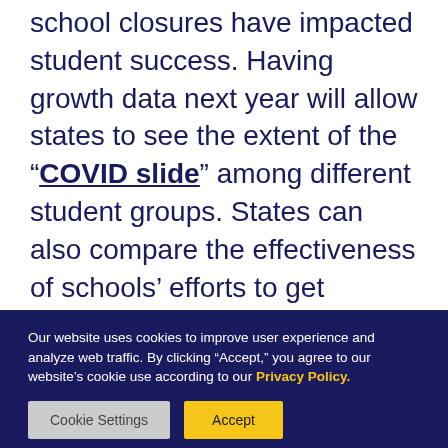school closures have impacted student success. Having growth data next year will allow states to see the extent of the “COVID slide” among different student groups. States can also compare the effectiveness of schools’ efforts to get students back on track – identifying and promoting best practices, and providing additional support where needed. Being transparent by sharing this information on report cards and in other public
Our website uses cookies to improve user experience and analyze web traffic. By clicking “Accept,” you agree to our website’s cookie use according to our Privacy Policy.